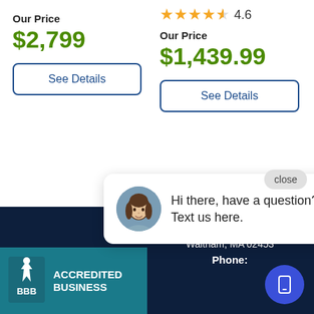Our Price
$2,799
See Details
[Figure (other): 4.6 star rating with stars shown]
Our Price
$1,439.99
See Details
close
[Figure (photo): Chat popup with woman avatar. Text: Hi there, have a question? Text us here.]
Hi there, have a question? Text us here.
[Figure (logo): BBB Accredited Business logo badge in teal]
Warrendale Appliance
170 High Street
Waltham, MA 02453

Phone: